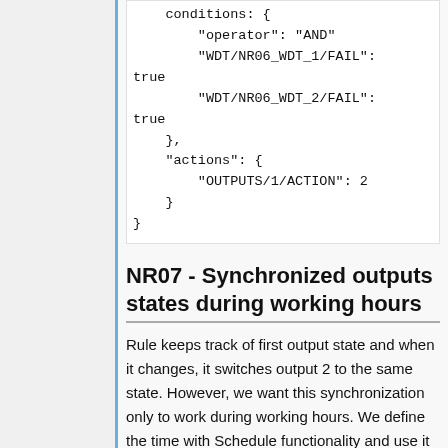[Figure (screenshot): Code block showing JSON configuration with conditions (operator AND, WDT/NR06_WDT_1/FAIL: true, WDT/NR06_WDT_2/FAIL: true), actions (OUTPUTS/1/ACTION: 2)]
NR07 - Synchronized outputs states during working hours
Rule keeps track of first output state and when it changes, it switches output 2 to the same state. However, we want this synchronization only to work during working hours. We define the time with Schedule functionality and use it as a filter (mask) in Rules. Schedule can be